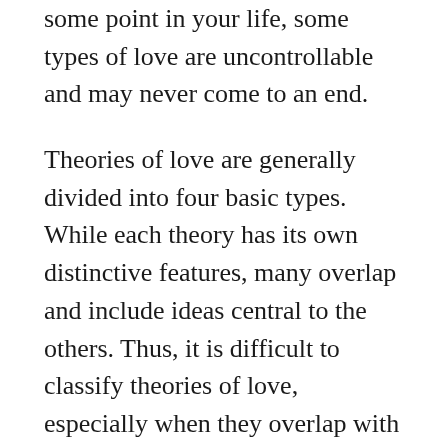some point in your life, some types of love are uncontrollable and may never come to an end.
Theories of love are generally divided into four basic types. While each theory has its own distinctive features, many overlap and include ideas central to the others. Thus, it is difficult to classify theories of love, especially when they overlap with each other. Most theories, however, are quasi-reductionistic and seek to understand love in terms of notions such as affection, evaluation, and attachment. These tendencies are reflected in the definitions of love attributed to each type.
Psychologists Velleman and Badhwar suggest